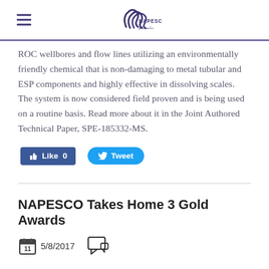NAPESCO logo and navigation header
ROC wellbores and flow lines utilizing an environmentally friendly chemical that is non-damaging to metal tubular and ESP components and highly effective in dissolving scales. The system is now considered field proven and is being used on a routine basis. Read more about it in the Joint Authored Technical Paper, SPE-185332-MS.
[Figure (other): Facebook Like button (count: 0) and Twitter Tweet button]
NAPESCO Takes Home 3 Gold Awards
5/8/2017 with calendar icon showing 11 and comment icon